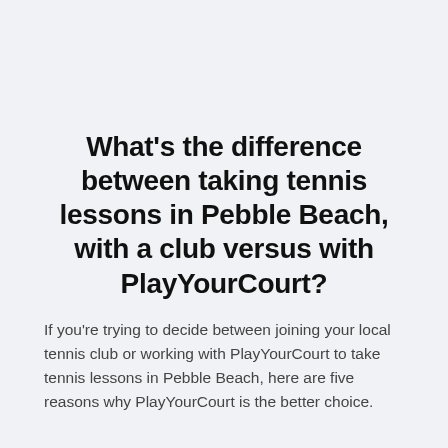What's the difference between taking tennis lessons in Pebble Beach, with a club versus with PlayYourCourt?
If you're trying to decide between joining your local tennis club or working with PlayYourCourt to take tennis lessons in Pebble Beach, here are five reasons why PlayYourCourt is the better choice.